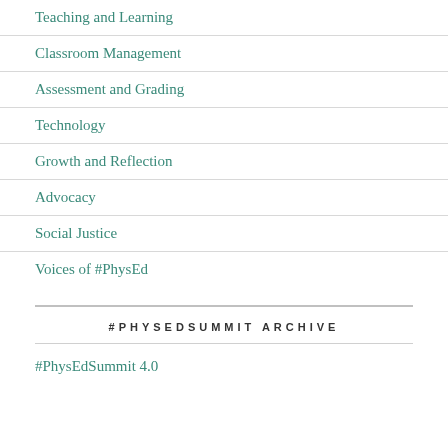Teaching and Learning
Classroom Management
Assessment and Grading
Technology
Growth and Reflection
Advocacy
Social Justice
Voices of #PhysEd
#PHYSEDSUMMIT ARCHIVE
#PhysEdSummit 4.0